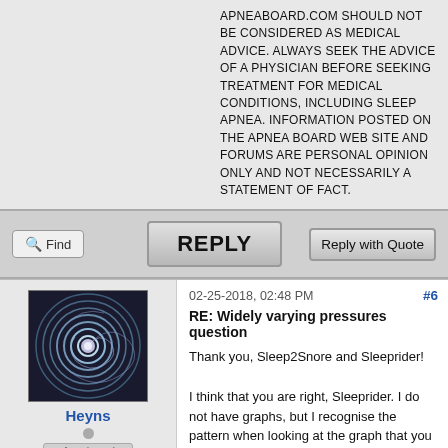APNEABOARD.COM SHOULD NOT BE CONSIDERED AS MEDICAL ADVICE. ALWAYS SEEK THE ADVICE OF A PHYSICIAN BEFORE SEEKING TREATMENT FOR MEDICAL CONDITIONS, INCLUDING SLEEP APNEA. INFORMATION POSTED ON THE APNEA BOARD WEB SITE AND FORUMS ARE PERSONAL OPINION ONLY AND NOT NECESSARILY A STATEMENT OF FACT.
[Figure (screenshot): Forum action buttons: Find, REPLY, Reply with Quote]
02-25-2018, 02:48 PM
#6
[Figure (photo): User avatar with swirling spiral pattern]
Heyns
Preferred Member
Posts: 84
Threads: 2
Joined: Feb 2018
RE: Widely varying pressures question
Thank you, Sleep2Snore and Sleeprider!

I think that you are right, Sleeprider. I do not have graphs, but I recognise the pattern when looking at the graph that you refer to. However, I think that I do a number of normal inhalations with shallow exhalations, followed by a deep exhale. I am quite sure that there is no mouth breathing. The air has to go somewhere, though. Hence the deep, fast exhale. TI think the DevilBiss detects this as exhale puffing. It would be interesting to see graphs of my data. I might be able to get some, but